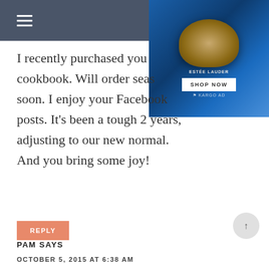☰
[Figure (photo): Estée Lauder advertisement banner with product image and SHOP NOW button, KARGO AD label]
I recently purchased your cookbook. Will order seas soon. I enjoy your Facebook posts. It's been a tough 2 years, adjusting to our new normal. And you bring some joy!
REPLY
PAM SAYS
OCTOBER 5, 2015 AT 6:38 AM